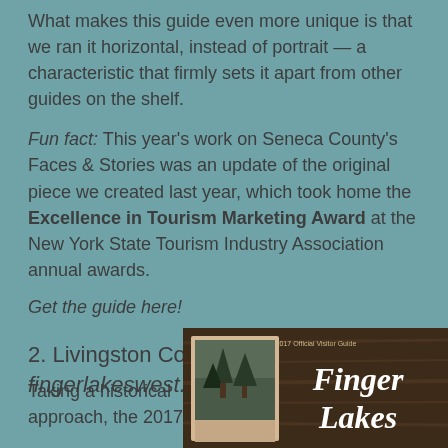What makes this guide even more unique is that we ran it horizontal, instead of portrait — a characteristic that firmly sets it apart from other guides on the shelf.
Fun fact: This year's work on Seneca County's Faces & Stories was an update of the original piece we created last year, which took home the Excellence in Tourism Marketing Award at the New York State Tourism Industry Association annual awards.
Get the guide here!
2. Livingston County, NY visitors guide fingerlakeswest.com
Taking a historical approach, the 2017
[Figure (photo): Cover of the 2017 Official Visitor Guide for Finger Lakes, showing a vintage photo and the Finger Lakes script logo on a dark wood background.]